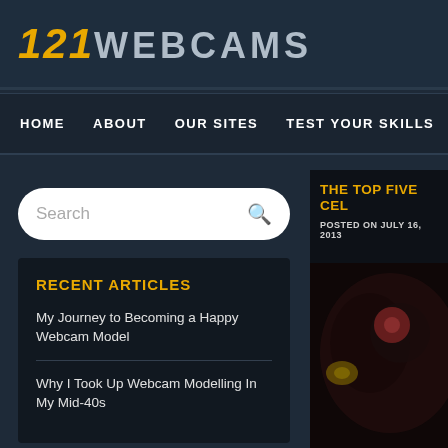121 WEBCAMS
HOME   ABOUT   OUR SITES   TEST YOUR SKILLS   BLO
Search
RECENT ARTICLES
My Journey to Becoming a Happy Webcam Model
Why I Took Up Webcam Modelling In My Mid-40s
THE TOP FIVE CEL
POSTED ON JULY 16, 2013
[Figure (photo): Dark photo of person with camera, red and gold highlights visible]